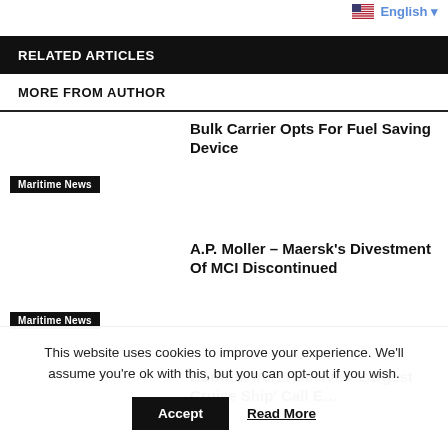🇺🇸 English ▾
RELATED ARTICLES
MORE FROM AUTHOR
Bulk Carrier Opts For Fuel Saving Device
Maritime News
A.P. Moller – Maersk's Divestment Of MCI Discontinued
Maritime News
Bodrum Port Receives 'Largest Cruise Ship' Call E…
This website uses cookies to improve your experience. We'll assume you're ok with this, but you can opt-out if you wish.
Accept
Read More